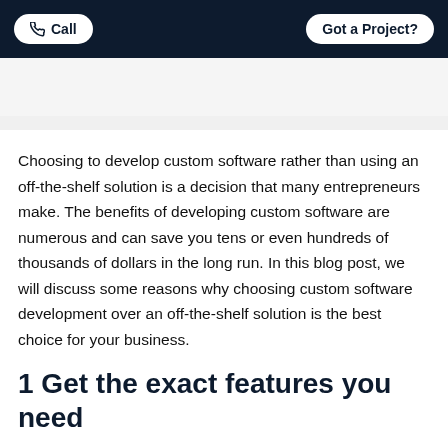Call | Got a Project?
[Figure (logo): Rorko logo with red circle containing letter r and dark blue text Rorko, with hamburger menu icon]
Choosing to develop custom software rather than using an off-the-shelf solution is a decision that many entrepreneurs make. The benefits of developing custom software are numerous and can save you tens or even hundreds of thousands of dollars in the long run. In this blog post, we will discuss some reasons why choosing custom software development over an off-the-shelf solution is the best choice for your business.
1 Get the exact features you need
The first reason why custom software development is better than off-the-shelf solutions is that you are able to